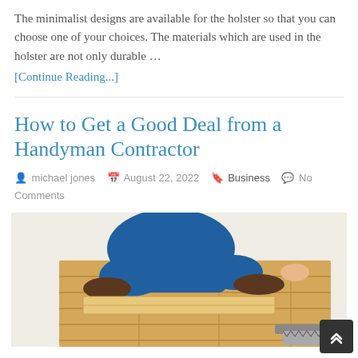The minimalist designs are available for the holster so that you can choose one of your choices. The materials which are used in the holster are not only durable …
[Continue Reading...]
How to Get a Good Deal from a Handyman Contractor
michael jones   August 22, 2022   Business   No Comments
[Figure (photo): A handyman in blue work clothes kneeling on the floor, placing wooden laminate flooring planks. Saw and tools visible in the bottom right corner.]